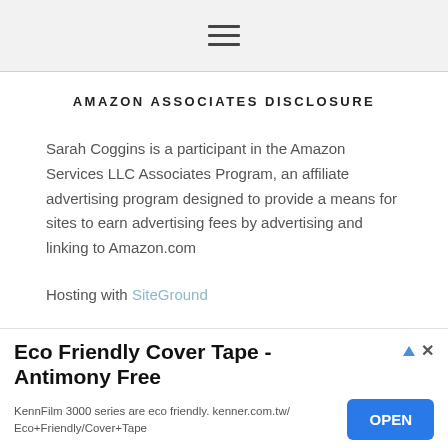≡ (hamburger menu icon)
AMAZON ASSOCIATES DISCLOSURE
Sarah Coggins is a participant in the Amazon Services LLC Associates Program, an affiliate advertising program designed to provide a means for sites to earn advertising fees by advertising and linking to Amazon.com
Hosting with SiteGround
[Figure (screenshot): SiteGround dropdown/accordion bar partially visible]
[Figure (screenshot): Advertisement banner: Eco Friendly Cover Tape - Antimony Free. KennFilm 3000 series are eco friendly. kenner.com.tw/Eco+Friendly/Cover+Tape. OPEN button.]